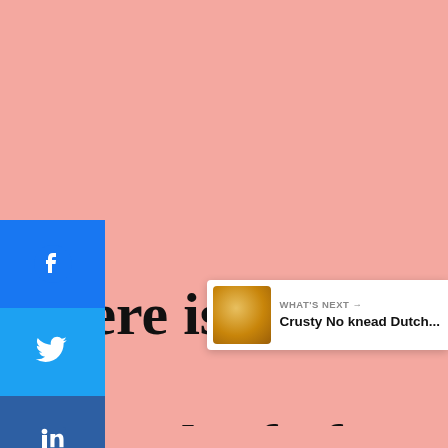[Figure (screenshot): Social media sharing sidebar with Facebook (blue), Twitter (light blue), LinkedIn (dark blue), and more (+) buttons stacked vertically on the left side of the page against a pink background.]
[Figure (screenshot): Right-side floating action buttons: Yummly icon (three bars), heart/like button in grey circle, number '1', and share button in white circle.]
[Figure (screenshot): What's Next banner in bottom-right showing a round bread image thumbnail and text 'WHAT'S NEXT → Crusty No knead Dutch...']
There is nothing li… warm loaf of bread